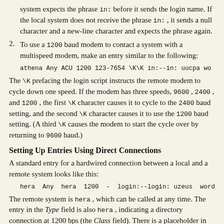system expects the phrase in: before it sends the login name. If the local system does not receive the phrase in: , it sends a null character and a new-line character and expects the phrase again.
To use a 1200 baud modem to contact a system with a multispeed modem, make an entry similar to the following:
athena Any ACU 1200 123-7654 \K\K in:--in: uucpa wo
The \K prefacing the login script instructs the remote modem to cycle down one speed. If the modem has three speeds, 9600 , 2400 , and 1200 , the first \K character causes it to cycle to the 2400 baud setting, and the second \K character causes it to use the 1200 baud setting. (A third \K causes the modem to start the cycle over by returning to 9600 baud.)
Setting Up Entries Using Direct Connections
A standard entry for a hardwired connection between a local and a remote system looks like this:
hera  Any  hera  1200  -  login:--login: uzeus  word: t
The remote system is hera , which can be called at any time. The entry in the Type field is also hera , indicating a directory connection at 1200 bps (the Class field). There is a placeholder in